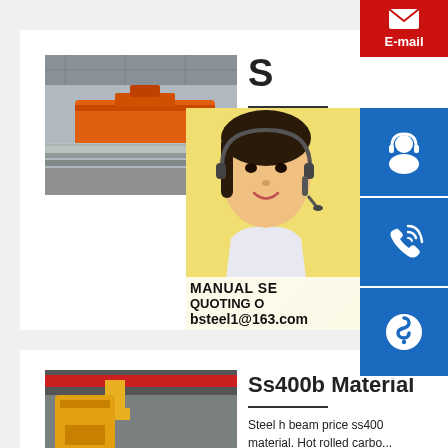[Figure (photo): Industrial steel cutting/processing machine in a factory setting with orange machinery]
S...
H...
p...
[Figure (photo): Customer service representative (Asian woman) with headset, blue contact icons (phone, Skype), MANUAL SE... QUOTING O... bsteel1@163.com]
[Figure (photo): Steel rebar/beams stored in a warehouse with red overhead crane]
Ss400b Material
Steel h beam price ss400
material. Hot rolled carbo...